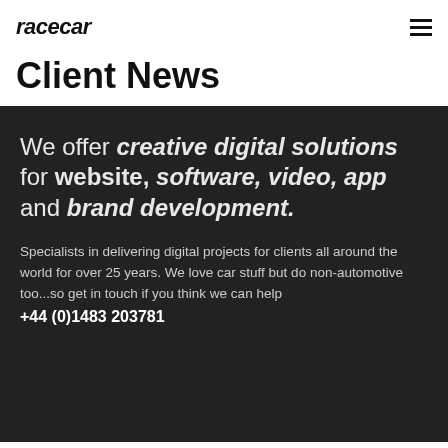racecar
Client News
We offer creative digital solutions for website, software, video, app and brand development.
Specialists in delivering digital projects for clients all around the world for over 25 years. We love car stuff but do non-automotive too...so get in touch if you think we can help +44 (0)1483 203781